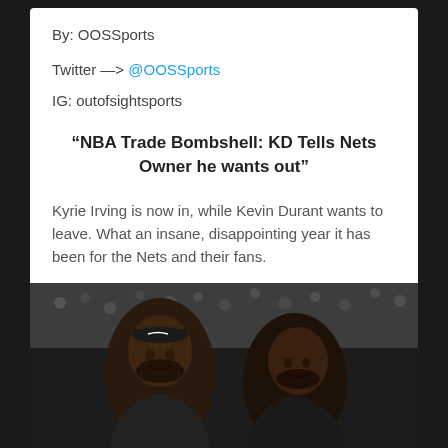By: OOSSports
Twitter —> @OOSSports
IG: outofsightsports
“NBA Trade Bombshell: KD Tells Nets Owner he wants out”
Kyrie Irving is now in, while Kevin Durant wants to leave. What an insane, disappointing year it has been for the Nets and their fans.
[Figure (photo): Two NBA players (Kyrie Irving and Kevin Durant) sitting on the bench in a dark arena, smiling, with a crowd visible in the background.]